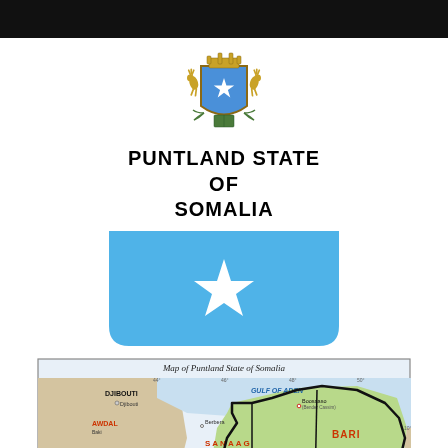[Figure (illustration): Black header bar at the top of the page]
[Figure (illustration): Coat of arms of Somalia: two leopards flanking a blue shield with white star, gold crown on top, olive branches below]
PUNTLAND STATE OF SOMALIA
[Figure (illustration): Somali flag: light blue rectangle with white five-pointed star in center, rounded bottom corners]
[Figure (map): Map of Puntland State of Somalia showing regions including BARI, KARKAAR, SOOL, NUGAAL, AYN, SANAAG with surrounding areas DJIBOUTI, ETHIOPIA, AWDAL, WOQOOYI GALBEED, TOGDHEER. Bodies of water: GULF OF ADEN, INDIAN OCEAN. Cities including Boosaaso, Djibouti, Berbera, Burco and others. Puntland territory highlighted in green.]